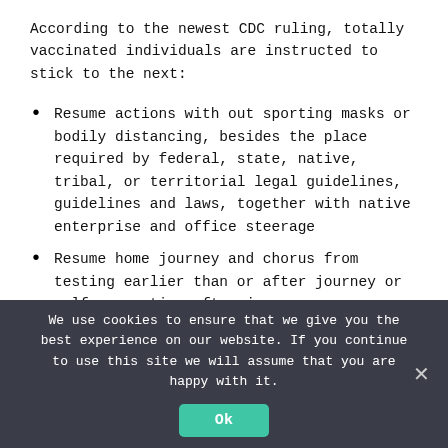According to the newest CDC ruling, totally vaccinated individuals are instructed to stick to the next:
Resume actions with out sporting masks or bodily distancing, besides the place required by federal, state, native, tribal, or territorial legal guidelines, guidelines and laws, together with native enterprise and office steerage
Resume home journey and chorus from testing earlier than or after journey or self-quarantine after journey.
We use cookies to ensure that we give you the best experience on our website. If you continue to use this site we will assume that you are happy with it.